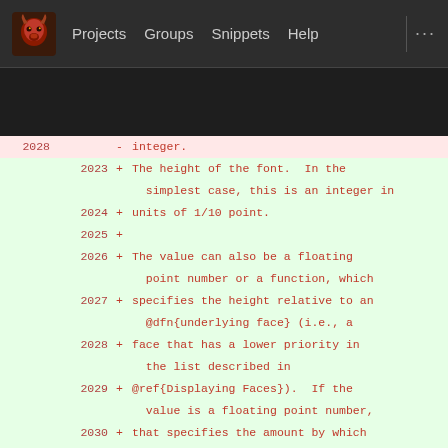[Figure (screenshot): GitLab-style web interface top navigation bar with logo, Projects, Groups, Snippets, Help links]
Diff view showing code lines 2023-2033 added (green) and line 2028 removed (red). Content is documentation text about font height specification.